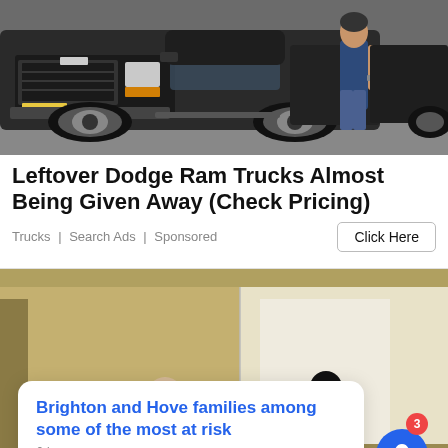[Figure (photo): A black Dodge Ram truck parked, with a person standing beside it]
Leftover Dodge Ram Trucks Almost Being Given Away (Check Pricing)
Trucks | Search Ads | Sponsored
Click Here
[Figure (screenshot): A room being painted with a person visible, overlaid with a browser notification card reading 'Brighton and Hove families among some of the most at risk — 9 hours ago', a close (X) button, and a blue bell notification button with badge showing 3]